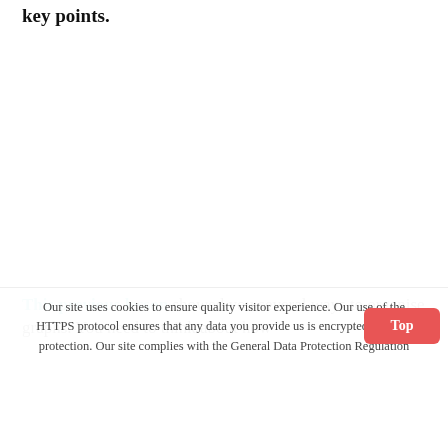key points.
This previous lesson showed you several ways to organise graphs. You need to think about how
Our site uses cookies to ensure quality visitor experience. Our use of the HTTPS protocol ensures that any data you provide us is encrypted for your protection. Our site complies with the General Data Protection Regulation